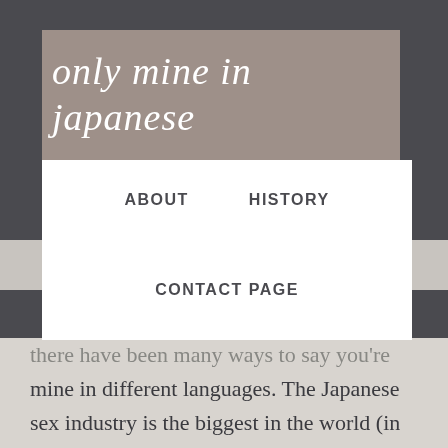only mine in japanese
ABOUT
HISTORY
CONTACT PAGE
mine in different languages. The Japanese sex industry is the biggest in the world (in terms of money generated). We cover Capital & Celeb News within the sections Markets, Business, Showbiz, Gaming, and Sports. The Japanese language uses a total of 188